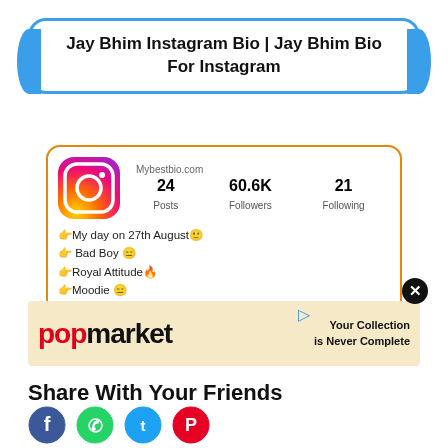Jay Bhim Instagram Bio | Jay Bhim Bio For Instagram
[Figure (screenshot): Instagram profile card showing logo, 24 Posts, 60.6K Followers, 21 Following, and bio lines including My day on 27th August, Bad Boy, Royal Attitude, Moodie, Love to play cricket, Jah Bhim, Biggest bhakt of mahakal]
[Figure (other): Popmarket advertisement banner: Your Collection is Never Complete]
Share With Your Friends
[Figure (other): Social media share icons: Facebook, WhatsApp, Twitter, Pinterest]